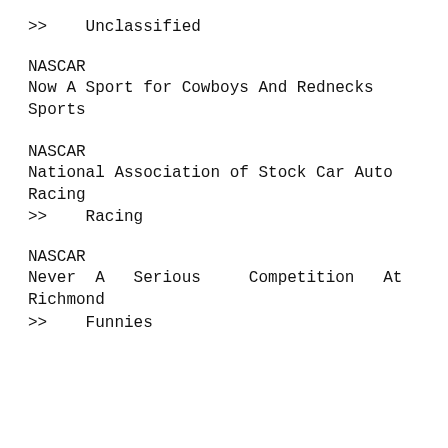>>    Unclassified
NASCAR
Now A Sport for Cowboys And Rednecks
Sports
NASCAR
National Association of Stock Car Auto Racing
>>    Racing
NASCAR
Never A Serious Competition At Richmond
>>    Funnies